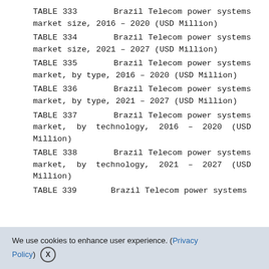TABLE 333    Brazil Telecom power systems market size, 2016 – 2020 (USD Million)
TABLE 334    Brazil Telecom power systems market size, 2021 – 2027 (USD Million)
TABLE 335    Brazil Telecom power systems market, by type, 2016 – 2020 (USD Million)
TABLE 336    Brazil Telecom power systems market, by type, 2021 – 2027 (USD Million)
TABLE 337    Brazil Telecom power systems market, by technology, 2016 – 2020 (USD Million)
TABLE 338    Brazil Telecom power systems market, by technology, 2021 – 2027 (USD Million)
TABLE 339    Brazil Telecom power systems
We use cookies to enhance user experience. (Privacy Policy)  X